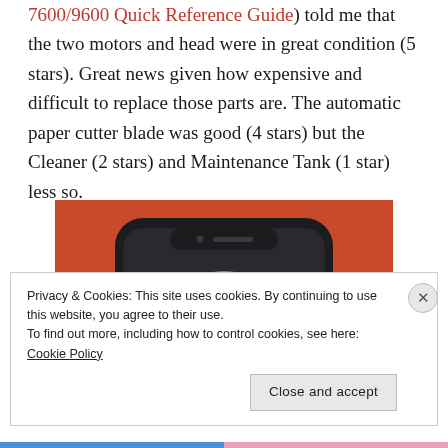7600/9600 Quick Reference Guide) told me that the two motors and head were in great condition (5 stars). Great news given how expensive and difficult to replace those parts are. The automatic paper cutter blade was good (4 stars) but the Cleaner (2 stars) and Maintenance Tank (1 star) less so.
[Figure (photo): A smartphone with a dark case displaying the DuckDuckGo logo (a duck in a white circle) on an orange/red background.]
Privacy & Cookies: This site uses cookies. By continuing to use this website, you agree to their use.
To find out more, including how to control cookies, see here: Cookie Policy
Close and accept